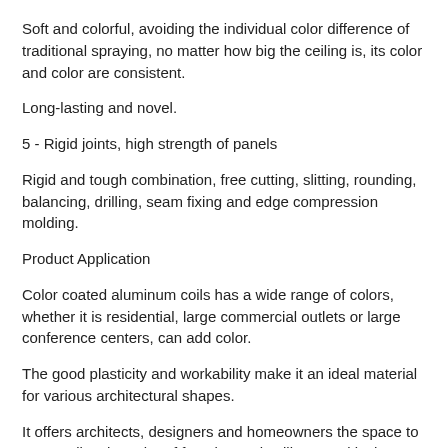Soft and colorful, avoiding the individual color difference of traditional spraying, no matter how big the ceiling is, its color and color are consistent.
Long-lasting and novel.
5 - Rigid joints, high strength of panels
Rigid and tough combination, free cutting, slitting, rounding, balancing, drilling, seam fixing and edge compression molding.
Product Application
Color coated aluminum coils has a wide range of colors, whether it is residential, large commercial outlets or large conference centers, can add color.
The good plasticity and workability make it an ideal material for various architectural shapes.
It offers architects, designers and homeowners the space to personalize the color of facades and ceilings, and is the